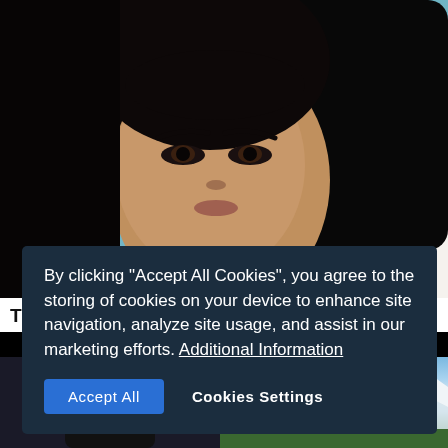[Figure (photo): Portrait photo of a young woman with dark hair and brown eyes, leaning on her hands, against a teal/blue background]
The Most Beautiful Middle Eastern Actresses
[Figure (photo): Two photos below: left shows a person wearing sunglasses and dark Prada clothing seated in front of snowy mountain scenery; right shows snowy alpine mountain peaks under blue sky]
By clicking "Accept All Cookies", you agree to the storing of cookies on your device to enhance site navigation, analyze site usage, and assist in our marketing efforts. Additional Information
Accept All   Cookies Settings